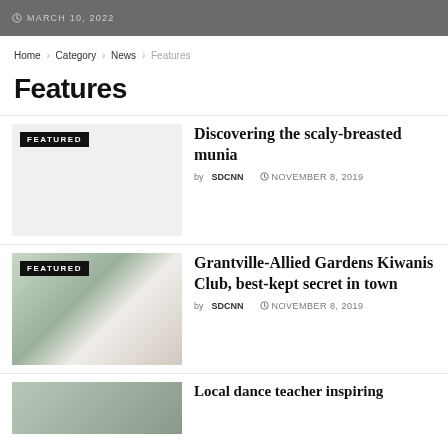MARCH 10, 2022
Home › Category › News › Features
Features
Discovering the scaly-breasted munia
by SDCNN  NOVEMBER 8, 2019
Grantville-Allied Gardens Kiwanis Club, best-kept secret in town
by SDCNN  NOVEMBER 8, 2019
Local dance teacher inspiring